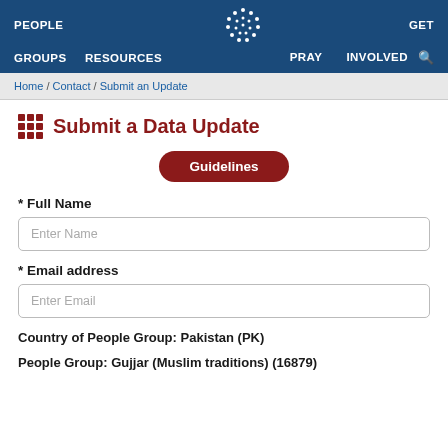PEOPLE GROUPS RESOURCES GET PRAY INVOLVED
Home / Contact / Submit an Update
Submit a Data Update
Guidelines
* Full Name
Enter Name
* Email address
Enter Email
Country of People Group:  Pakistan (PK)
People Group:  Gujjar (Muslim traditions) (16879)